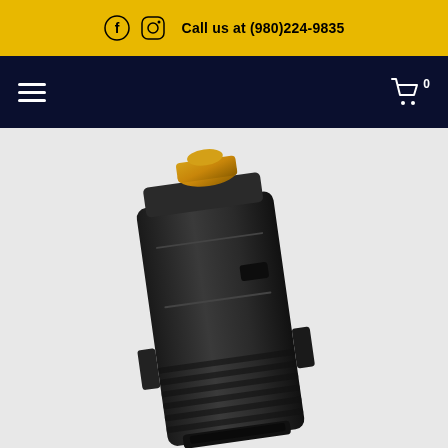Call us at (980)224-9835
[Figure (photo): Black polymer AR-15 magazine (likely Magpul PMAG) shown at a slight angle with a brass cartridge visible at the top, on a light gray background.]